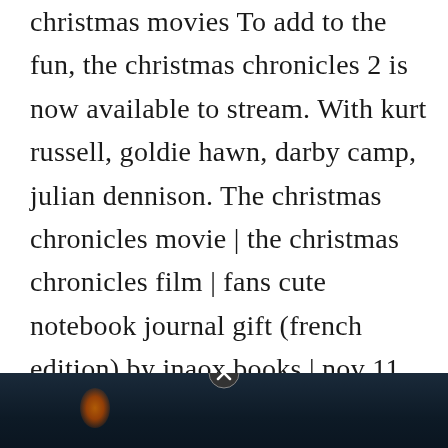christmas movies To add to the fun, the christmas chronicles 2 is now available to stream. With kurt russell, goldie hawn, darby camp, julian dennison. The christmas chronicles movie | the christmas chronicles film | fans cute notebook journal gift (french edition) by inaox books | nov 11, 2020. User rating, 4 out of 5 stars with 3 reviews. Teddy and kate pierce are the ultimate sister and brother act.
[Figure (photo): Bottom portion of a movie/book image with dark blue background, partial orange glow on the left side, and a close (X) button overlay at the top center of the image area.]